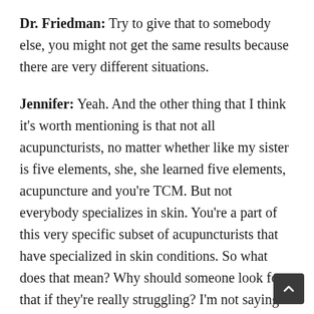Dr. Friedman: Try to give that to somebody else, you might not get the same results because there are very different situations.
Jennifer: Yeah. And the other thing that I think it's worth mentioning is that not all acupuncturists, no matter whether like my sister is five elements, she, she learned five elements, acupuncture and you're TCM. But not everybody specializes in skin. You're a part of this very specific subset of acupuncturists that have specialized in skin conditions. So what does that mean? Why should someone look for that if they're really struggling? I'm not saying that they shouldn't go to somebody that they trust in their own commun but your specialty is different.